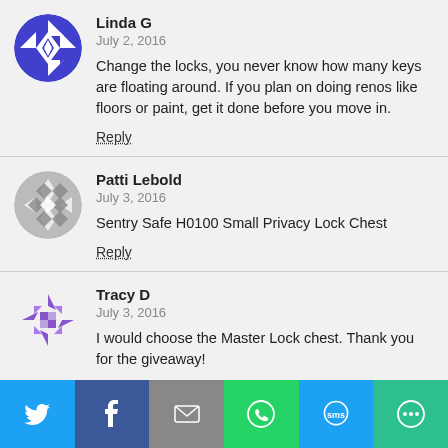[Figure (illustration): Blue geometric avatar for Linda G]
Linda G
July 2, 2016
Change the locks, you never know how many keys are floating around. If you plan on doing renos like floors or paint, get it done before you move in.
Reply
[Figure (illustration): Gray geometric avatar for Patti Lebold]
Patti Lebold
July 3, 2016
Sentry Safe H0100 Small Privacy Lock Chest
Reply
[Figure (illustration): Purple geometric avatar for Tracy D]
Tracy D
July 3, 2016
I would choose the Master Lock chest. Thank you for the giveaway!
Reply
[Figure (infographic): Social sharing bar with Twitter, Facebook, Email, WhatsApp, SMS, and More buttons]